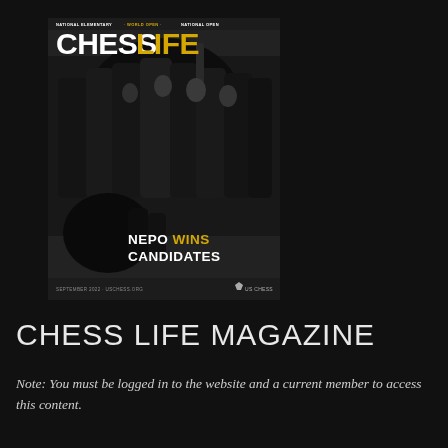[Figure (photo): Chess Life magazine cover featuring group of chess players celebrating, with NEPO WINS CANDIDATES headline. Cover shows black and white photo of people at what appears to be an awards ceremony. Top reads: NATIONAL ELEMENTARY · WORLD OPEN · NATIONAL OPEN. Large masthead: CHESS LIFE. Bottom left text: NEPO WINS CANDIDATES. Bottom: SEPTEMBER 2022 · US CHESS logo.]
CHESS LIFE MAGAZINE
Note: You must be logged in to the website and a current member to access this content.